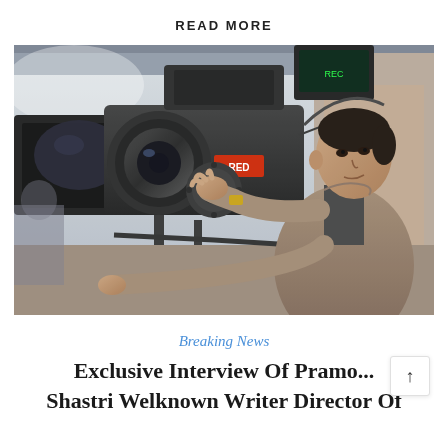READ MORE
[Figure (photo): A man in a brown jacket operating a large RED professional cinema camera on a film set, adjusting the lens or follow focus, with blurred industrial background]
Breaking News
Exclusive Interview Of Pramo... Shastri Welknown Writer Director Of